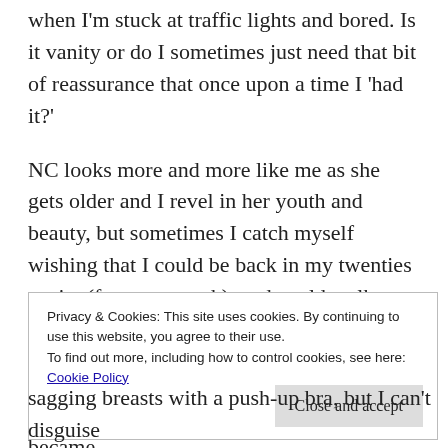when I'm stuck at traffic lights and bored. Is it vanity or do I sometimes just need that bit of reassurance that once upon a time I 'had it?'
NC looks more and more like me as she gets older and I revel in her youth and beauty, but sometimes I catch myself wishing that I could be back in my twenties again, (for say a week), and could walk down the street and catch the eye of all those hot men too.
Maybe I only became a true feminist when I became
Privacy & Cookies: This site uses cookies. By continuing to use this website, you agree to their use.
To find out more, including how to control cookies, see here:
Cookie Policy
Close and accept
sagging breasts with a push-up bra, but I can't disguise